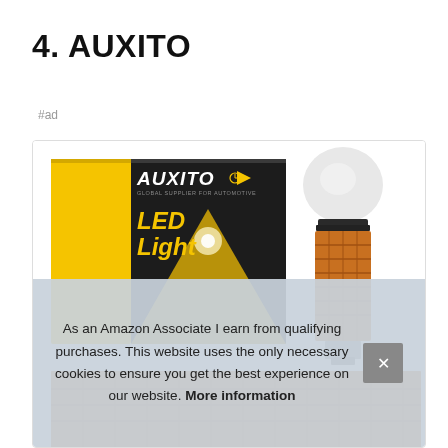4. AUXITO
#ad
[Figure (photo): AUXITO LED Light product box (yellow and black) with logo and triangle design, and an AUXITO LED automotive bulb (orange/copper heat sink with white dome lens) displayed next to the box.]
As an Amazon Associate I earn from qualifying purchases. This website uses the only necessary cookies to ensure you get the best experience on our website. More information